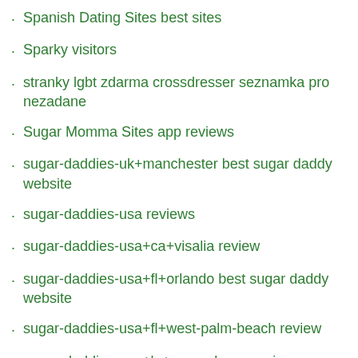Spanish Dating Sites best sites
Sparky visitors
stranky lgbt zdarma crossdresser seznamka pro nezadane
Sugar Momma Sites app reviews
sugar-daddies-uk+manchester best sugar daddy website
sugar-daddies-usa reviews
sugar-daddies-usa+ca+visalia review
sugar-daddies-usa+fl+orlando best sugar daddy website
sugar-daddies-usa+fl+west-palm-beach review
sugar-daddies-usa+la+new-orleans review